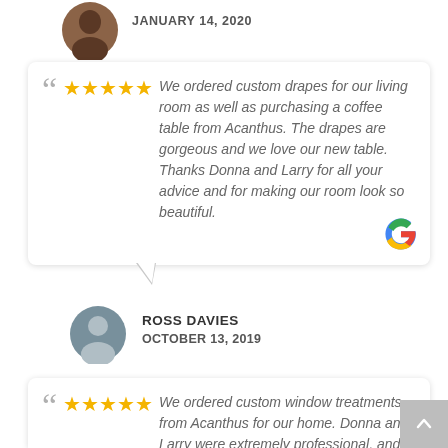[Figure (illustration): Partial view of a brown-toned avatar circle and JANUARY 14, 2020 date label for a reviewer]
JANUARY 14, 2020
We ordered custom drapes for our living room as well as purchasing a coffee table from Acanthus. The drapes are gorgeous and we love our new table. Thanks Donna and Larry for all your advice and for making our room look so beautiful.
[Figure (logo): Google G logo]
[Figure (illustration): Grey generic user avatar circle]
ROSS DAVIES
OCTOBER 13, 2019
We ordered custom window treatments from Acanthus for our home. Donna and Larry were extremely professional, and provided a seamless experience. The turnaround